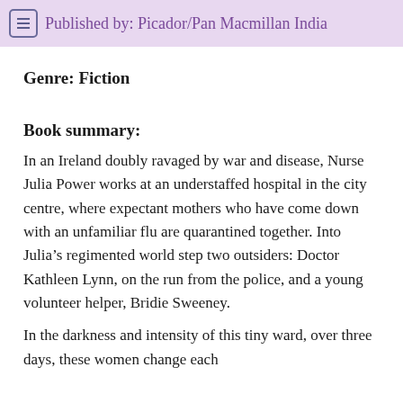Published by: Picador/Pan Macmillan India
Genre: Fiction
Book summary:
In an Ireland doubly ravaged by war and disease, Nurse Julia Power works at an understaffed hospital in the city centre, where expectant mothers who have come down with an unfamiliar flu are quarantined together. Into Julia’s regimented world step two outsiders: Doctor Kathleen Lynn, on the run from the police, and a young volunteer helper, Bridie Sweeney.
In the darkness and intensity of this tiny ward, over three days, these women change each other’s lives in ways none of them could have imagined.